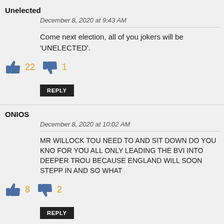Unelected
December 8, 2020 at 9:43 AM
Come next election, all of you jokers will be 'UNELECTED'.
22 likes, 1 dislike
REPLY
ONIOS
December 8, 2020 at 10:02 AM
MR WILLOCK TOU NEED TO AND SIT DOWN DO YOU KNO FOR YOU ALL ONLY LEADING THE BVI INTO DEEPER TROU BECAUSE ENGLAND WILL SOON STEPP IN AND SO WHAT
8 likes, 2 dislikes
REPLY